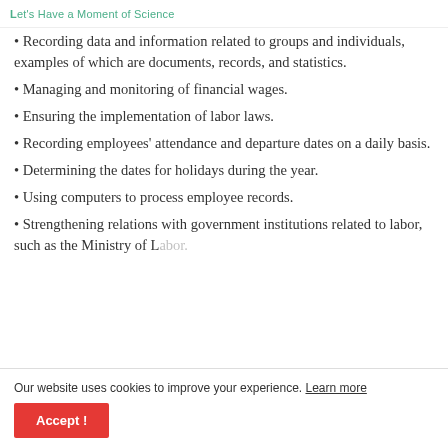Let's Have a Moment of Science
Recording data and information related to groups and individuals, examples of which are documents, records, and statistics.
Managing and monitoring of financial wages.
Ensuring the implementation of labor laws.
Recording employees' attendance and departure dates on a daily basis.
Determining the dates for holidays during the year.
Using computers to process employee records.
Strengthening relations with government institutions related to labor, such as the Ministry of Labor.
Our website uses cookies to improve your experience. Learn more
Accept !